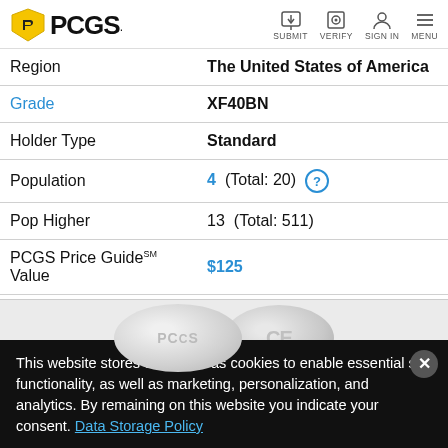PCGS | SUBMIT | VERIFY | SIGN IN | MENU
| Region | The United States of America |
| Grade | XF40BN |
| Holder Type | Standard |
| Population | 4  (Total: 20)  ? |
| Pop Higher | 13  (Total: 511) |
| PCGS Price GuideSM Value | $125 |
[Figure (photo): PCGS coin grading holder with two coins visible showing PCGS logo and grading text]
This website stores data such as cookies to enable essential site functionality, as well as marketing, personalization, and analytics. By remaining on this website you indicate your consent. Data Storage Policy